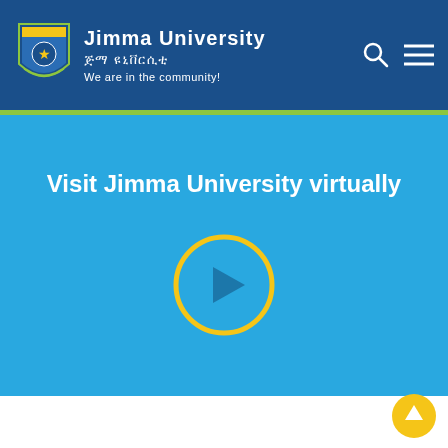Jimma University — ጅማ ዩኒቨርሲቲ — We are in the community!
[Figure (screenshot): Jimma University website header with logo (shield crest), university name in English and Amharic, tagline 'We are in the community!', search icon and hamburger menu on the right]
Visit Jimma University virtually
[Figure (other): Yellow circle play button on light blue background for virtual university tour video]
[Figure (other): Yellow circular scroll-to-top button with upward arrow in bottom right corner]